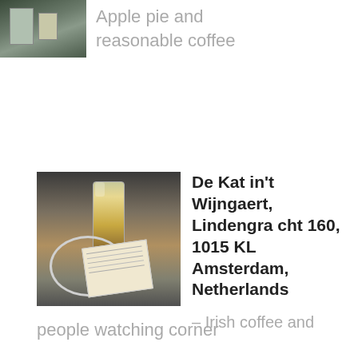[Figure (photo): Photo of an interior space with framed pictures on wall, partially visible]
Apple pie and reasonable coffee
[Figure (photo): Photo of an Irish coffee drink in a glass on an outdoor table with a map, taken at De Kat in't Wijngaert]
De Kat in't Wijngaert, Lindengrach cht 160, 1015 KL Amsterdam, Netherlands
– Irish coffee and people watching corner